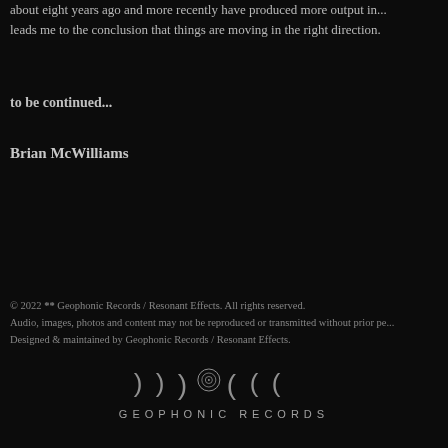about eight years ago and more recently have produced more output in... leads me to the conclusion that things are moving in the right direction.
to be continued...
Brian McWilliams
© 2022 ** Geophonic Records / Resonant Effects. All rights reserved.
Audio, images, photos and content may not be reproduced or transmitted without prior pe...
Designed & maintained by Geophonic Records / Resonant Effects.
[Figure (logo): Geophonic Records logo with moon phase icons and text GEOPHONIC RECORDS]